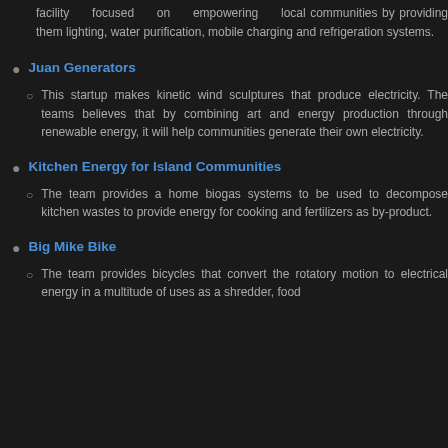facility focused on empowering local communities by providing them lighting, water purification, mobile charging and refrigeration systems.
Juan Generators
This startup makes kinetic wind sculptures that produce electricity. The teams believes that by combining art and energy production through renewable energy, it will help communities generate their own electricity.
Kitchen Energy for Island Communities
The team provides a home biogas systems to be used to decompose kitchen wastes to provide energy for cooking and fertilizers as by-product.
Big Mike Bike
The team provides bicycles that convert the rotatory motion to electrical energy in a multitude of uses as a shredder, food